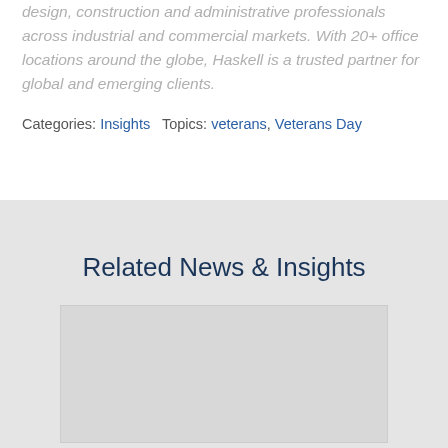design, construction and administrative professionals across industrial and commercial markets. With 20+ office locations around the globe, Haskell is a trusted partner for global and emerging clients.
Categories: Insights   Topics: veterans, Veterans Day
Related News & Insights
[Figure (other): Placeholder card image area in light gray]